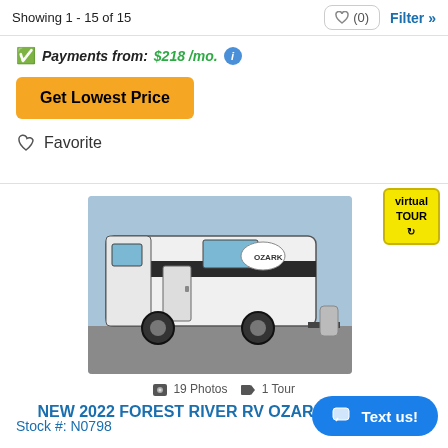Showing 1 - 15 of 15
Payments from: $218 /mo.
Get Lowest Price
Favorite
[Figure (photo): Photo of a white Forest River RV Ozark travel trailer parked in a lot, with a gas tank attached at the rear hitch.]
19 Photos  1 Tour
NEW 2022 FOREST RIVER RV OZARK 1650BHKX
Stock #: N0798
Text us!